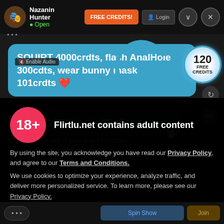Nazanin Hunter · Open | FREE CREDITS! | Login
SQUIRT 4000crdts, flash AnalHole 300cdts, wear bunny mask 101crdts ❤
FLOOD ME PLEASE
Come to private if you want to know why Im the SQUIRT QUEEN
Flirtlu.net contains adult content
By using the site, you acknowledge you have read our Privacy Policy, and agree to our Terms and Conditions.
We use cookies to optimize your experience, analyze traffic, and deliver more personalized service. To learn more, please see our Privacy Policy.
Hi, nice to meet you :)
Very sexy baby
I AGREE